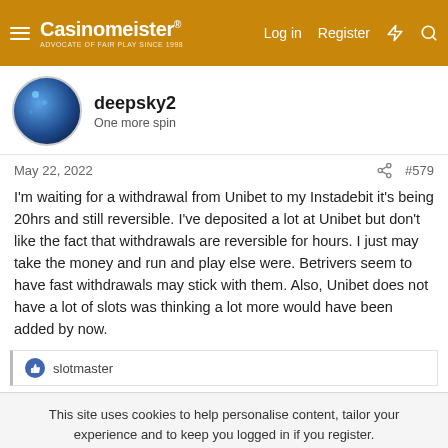Casinomeister® — Log in  Register
deepsky2
One more spin
May 22, 2022  #579
I'm waiting for a withdrawal from Unibet to my Instadebit it's being 20hrs and still reversible. I've deposited a lot at Unibet but don't like the fact that withdrawals are reversible for hours. I just may take the money and run and play else were. Betrivers seem to have fast withdrawals may stick with them. Also, Unibet does not have a lot of slots was thinking a lot more would have been added by now.
👍 slotmaster
This site uses cookies to help personalise content, tailor your experience and to keep you logged in if you register.
By continuing to use this site, you are consenting to our use of cookies.
✓ Accept    Learn more...